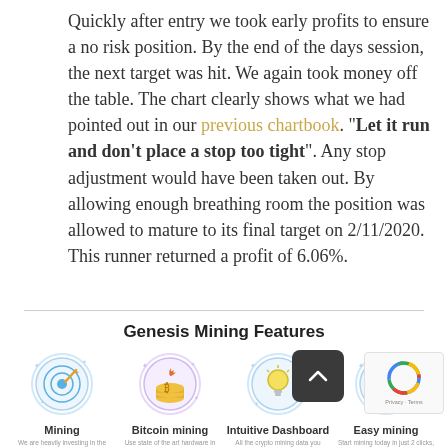Quickly after entry we took early profits to ensure a no risk position. By the end of the days session, the next target was hit. We again took money off the table. The chart clearly shows what we had pointed out in our previous chartbook. "Let it run and don't place a stop too tight". Any stop adjustment would have been taken out. By allowing enough breathing room the position was allowed to mature to its final target on 2/11/2020. This runner returned a profit of 6.06%.
Genesis Mining Features
[Figure (illustration): Four feature icons for Genesis Mining: Mining (target/dartboard icon), Bitcoin mining (coins/stacks icon), Intuitive Dashboard (lightbulb icon), and a fourth partially obscured icon]